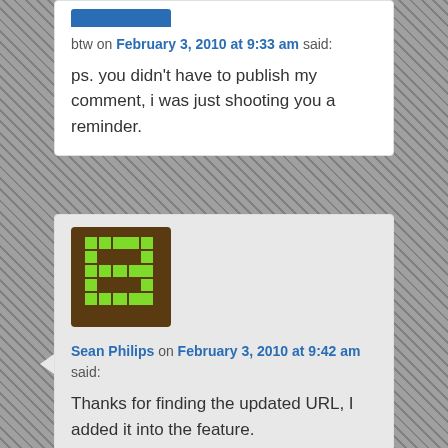btw on February 3, 2010 at 9:33 am said:
ps. you didn't have to publish my comment, i was just shooting you a reminder.
[Figure (illustration): Pixel-art avatar: dark brown background with green pixel pattern resembling a game sprite]
Sean Philips on February 3, 2010 at 9:42 am said:
Thanks for finding the updated URL, I added it into the feature.